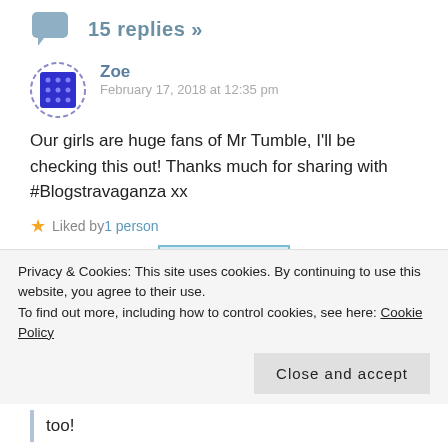15 replies »
Zoe
February 17, 2018 at 12:35 pm
Our girls are huge fans of Mr Tumble, I'll be checking this out! Thanks much for sharing with #Blogstravaganza xx
Liked by 1 person
REPLY
Privacy & Cookies: This site uses cookies. By continuing to use this website, you agree to their use.
To find out more, including how to control cookies, see here: Cookie Policy
Close and accept
too!